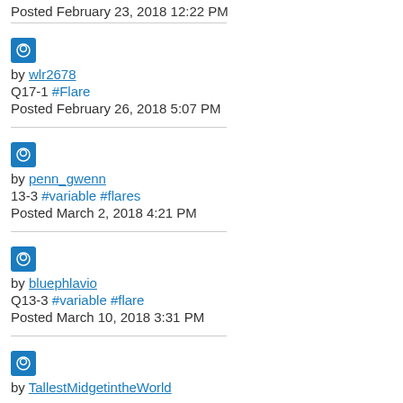Posted February 23, 2018 12:22 PM
[Figure (other): Blue avatar icon for user wlr2678]
by wlr2678
Q17-1 #Flare
Posted February 26, 2018 5:07 PM
[Figure (other): Blue avatar icon for user penn_gwenn]
by penn_gwenn
13-3 #variable #flares
Posted March 2, 2018 4:21 PM
[Figure (other): Blue avatar icon for user bluephlavio]
by bluephlavio
Q13-3 #variable #flare
Posted March 10, 2018 3:31 PM
[Figure (other): Blue avatar icon for user TallestMidgetintheWorld]
by TallestMidgetintheWorld